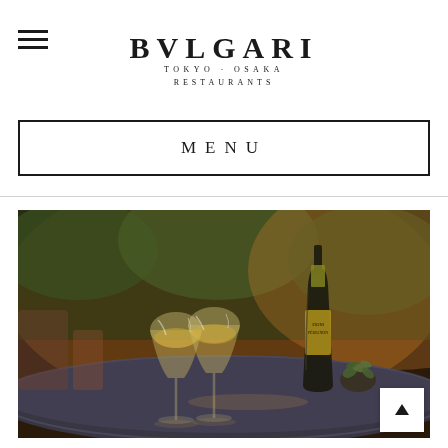BVLGARI TOKYO·OSAKA RESTAURANTS
MENU
[Figure (photo): Two champagne glasses filled with white wine/champagne on a dark round table, with a Dom Perignon bottle and a small succulent plant in the background, outdoor terrace setting with blurred greenery]